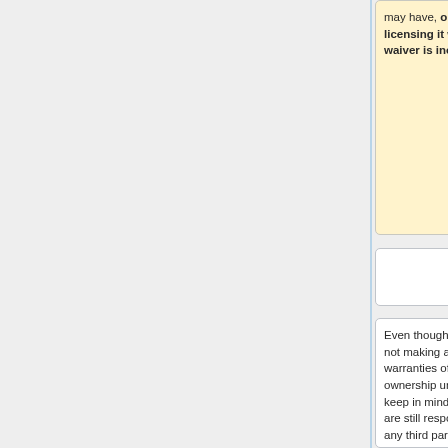may have, or licensing it where the waiver is ineffective.
may have.
Even though are you not making any warranties of copyright ownership under CC0, keep in mind that you are still responsible to any third parties who may have existing rights in your work when you distribute the work.  For example, if your
Even though are you not making any warranties of copyright ownership under CC0, keep in mind that you are still responsible to any third parties who may have existing rights in your work when you distribute the work.  For example, if your